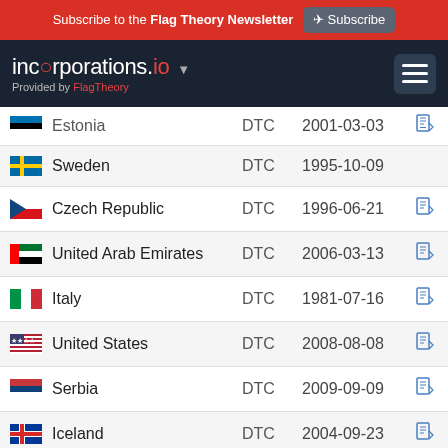Subscribe to the Flag Theory Newsletter  Subscribe
incorporations.io - Provided by FlagTheory
| Country | Type | Date |  |
| --- | --- | --- | --- |
| Estonia | DTC | 2001-03-03 | PDF |
| Sweden | DTC | 1995-10-09 |  |
| Czech Republic | DTC | 1996-06-21 | PDF |
| United Arab Emirates | DTC | 2006-03-13 | PDF |
| Italy | DTC | 1981-07-16 | PDF |
| United States | DTC | 2008-08-08 | PDF |
| Serbia | DTC | 2009-09-09 | PDF |
| Iceland | DTC | 2004-09-23 | PDF |